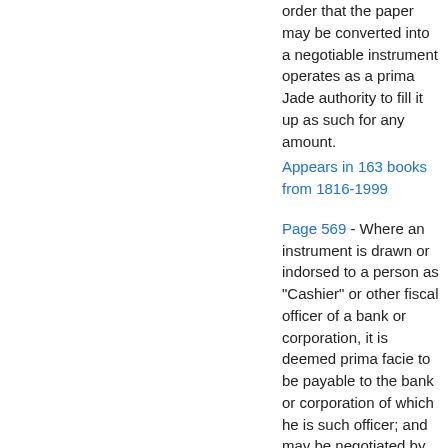order that the paper may be converted into a negotiable instrument operates as a prima Jade authority to fill it up as such for any amount.
Appears in 163 books from 1816-1999
Page 569 - Where an instrument is drawn or indorsed to a person as "Cashier" or other fiscal officer of a bank or corporation, it is deemed prima facie to be payable to the bank or corporation of which he is such officer; and may be negotiated by either the indorsement of the bank or corporation or the indorsement of the